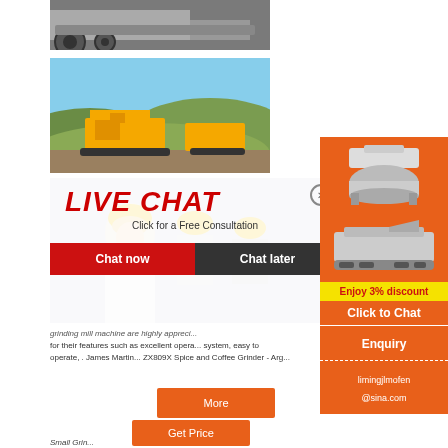[Figure (photo): Industrial machine with large wheel/roller, gray machinery on ground]
[Figure (photo): Yellow mining/crushing equipment on outdoor terrain with hills in background]
[Figure (photo): Live chat popup overlay showing workers in hard hats with LIVE CHAT text and consultation offer. Chat now and Chat later buttons.]
grinding mill machine are highly appreci... for their features such as excellent opera... system, easy to operate, . James Martin... ZX809X Spice and Coffee Grinder - Arg...
[Figure (photo): Orange sidebar with crushing/grinding machine images, Enjoy 3% discount, Click to Chat, Enquiry, and email limingjlmofen@sina.com]
More
Get Price
Small Grin...